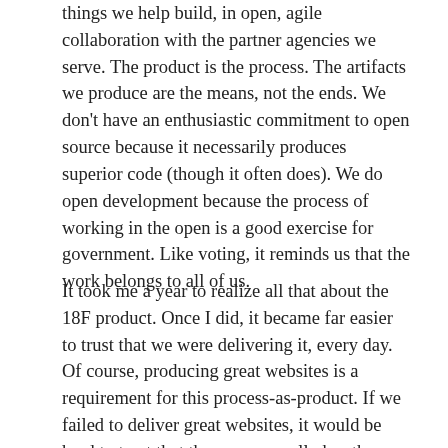things we help build, in open, agile collaboration with the partner agencies we serve. The product is the process. The artifacts we produce are the means, not the ends. We don't have an enthusiastic commitment to open source because it necessarily produces superior code (though it often does). We do open development because the process of working in the open is a good exercise for government. Like voting, it reminds us that the work belongs to all of us.
It took me a year to realize all that about the 18F product. Once I did, it became far easier to trust that we were delivering it, every day. Of course, producing great websites is a requirement for this process-as-product. If we failed to deliver great websites, it would be hard to trust that the process really has the quality we claim it does.